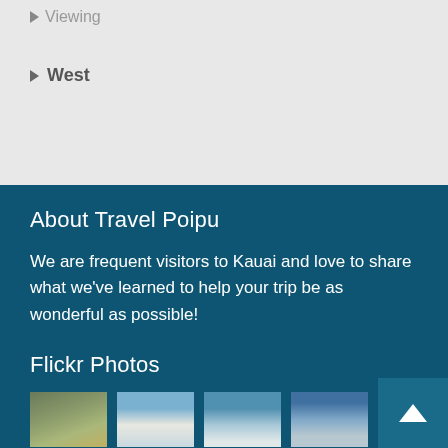Viewing
West
About Travel Poipu
We are frequent visitors to Kauai and love to share what we've learned to help your trip be as wonderful as possible!
Flickr Photos
[Figure (photo): Four small thumbnail photos showing Hawaiian landscapes and skies]